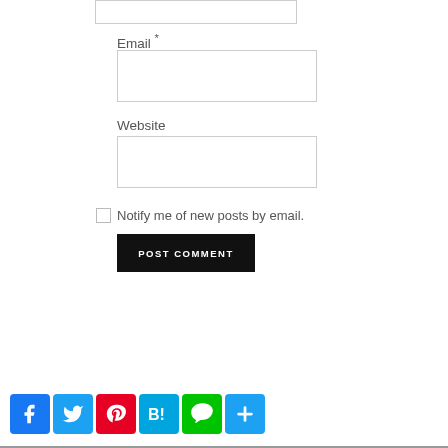Email *
[Figure (screenshot): Email text input field (empty)]
Website
[Figure (screenshot): Website text input field (empty)]
Notify me of new posts by email.
[Figure (screenshot): POST COMMENT button (black)]
[Figure (screenshot): Social sharing icons row: Facebook, Twitter, Pinterest, Hatena Bookmark, LINE, Add]